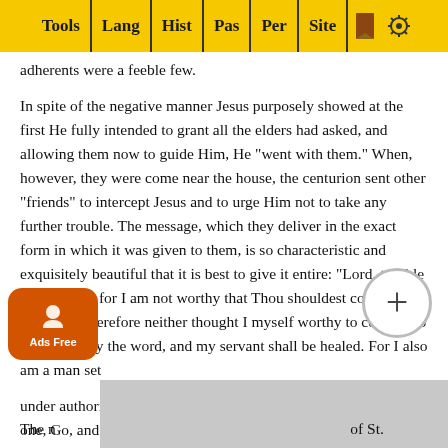Tools | Lang | Hist | Pas | Per | Site
adherents were a feeble few.

In spite of the negative manner Jesus purposely showed at the first He fully intended to grant all the elders had asked, and allowing them now to guide Him, He "went with them." When, however, they were come near the house, the centurion sent other "friends" to intercept Jesus and to urge Him not to take any further trouble. The message, which they deliver in the exact form in which it was given to them, is so characteristic and exquisitely beautiful that it is best to give it entire: "Lord, trouble not Thyself: for I am not worthy that Thou shouldest come under my roof: wherefore neither thought I myself worthy to come unto Thee: but say the word, and my servant shall be healed. For I also am a man set under authority, having under myself soldiers: and I say unto one, Go, and he goeth; and to another, Come, and he cometh; and to my servant, Do this, and he doeth it."

The n ... of St.